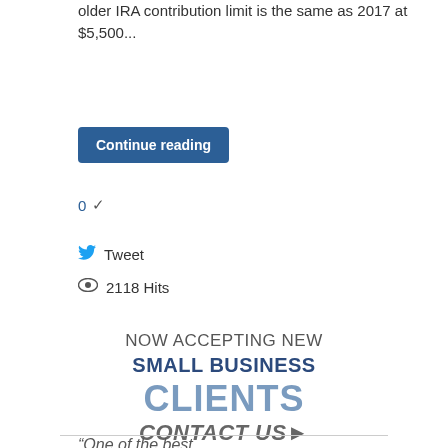older IRA contribution limit is the same as 2017 at $5,500...
Continue reading
0 ✓
Tweet
2118 Hits
[Figure (infographic): Promotional banner: NOW ACCEPTING NEW SMALL BUSINESS CLIENTS CONTACT US▸]
“One of the best